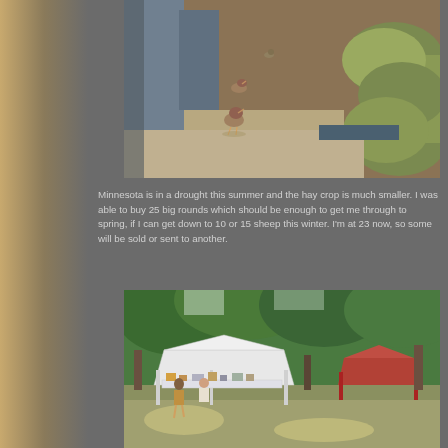[Figure (photo): Farm scene with geese/birds walking on dirt floor of a barn or storage area, with large round hay bales stacked on the right side]
Minnesota is in a drought this summer and the hay crop is much smaller. I was able to buy 25 big rounds which should be enough to get me through to spring, if I can get down to 10 or 15 sheep this winter. I'm at 23 now, so some will be sold or sent to another.
[Figure (photo): Outdoor market or craft fair scene with white canopy tents set up among trees, people browsing vendor stalls with various goods displayed on tables]